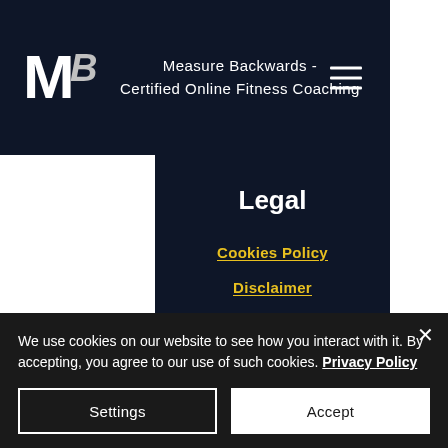Measure Backwards - Certified Online Fitness Coaching
Legal
Cookies Policy
Disclaimer
General Terms & Conditions
Privacy Policy
Returns & Refunds
We use cookies on our website to see how you interact with it. By accepting, you agree to our use of such cookies. Privacy Policy
Settings | Accept